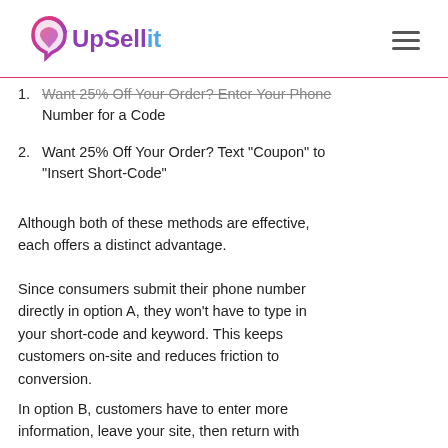UpSellit
1. Want 25% Off Your Order? Enter Your Phone Number for a Code
2. Want 25% Off Your Order? Text "Coupon" to "Insert Short-Code"
Although both of these methods are effective, each offers a distinct advantage.
Since consumers submit their phone number directly in option A, they won't have to type in your short-code and keyword. This keeps customers on-site and reduces friction to conversion.
In option B, customers have to enter more information, leave your site, then return with